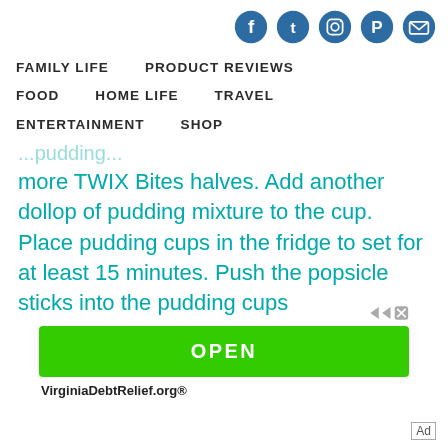Social media icons: Facebook, Twitter, Instagram, Pinterest, Email
FAMILY LIFE
PRODUCT REVIEWS
FOOD
HOME LIFE
TRAVEL
ENTERTAINMENT
SHOP
more TWIX Bites halves. Add another dollop of pudding mixture to the cup. Place pudding cups in the fridge to set for at least 15 minutes. Push the popsicle sticks into the pudding cups
[Figure (other): Advertisement banner with green OPEN button and VirginiaDebtRelief.org branding]